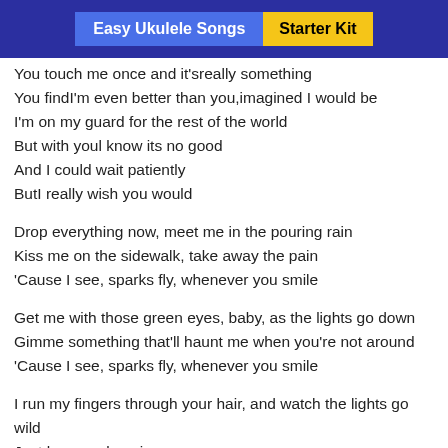Easy Ukulele Songs | Starter Kit
You touch me once and it'sreally something
You findI'm even better than you,imagined I would be
I'm on my guard for the rest of the world
But with youl know its no good
And I could wait patiently
ButI really wish you would
Drop everything now, meet me in the pouring rain
Kiss me on the sidewalk, take away the pain
'Cause I see, sparks fly, whenever you smile
Get me with those green eyes, baby, as the lights go down
Gimme something that'll haunt me when you're not around
'Cause I see, sparks fly, whenever you smile
I run my fingers through your hair, and watch the lights go wild
Just keep on keeping your eyes on me